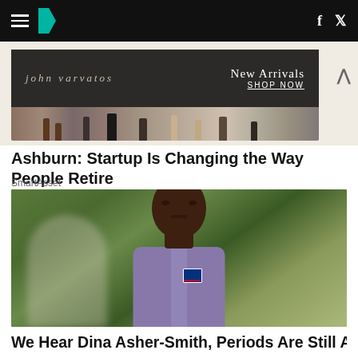HuffPost navigation with hamburger menu, logo, facebook and twitter icons
[Figure (photo): John Varvatos advertisement banner with 'New Arrivals SHOP NOW' text and people in dark clothing]
Ashburn: Startup Is Changing the Way People Retire
SmartAsset
[Figure (photo): Photo of Dina Asher-Smith, a Black female athlete wearing a purple British athletics vest with Union Jack, looking forward intensely at a track and field event]
We Hear Dina Asher-Smith, Periods Are Still A Bloody